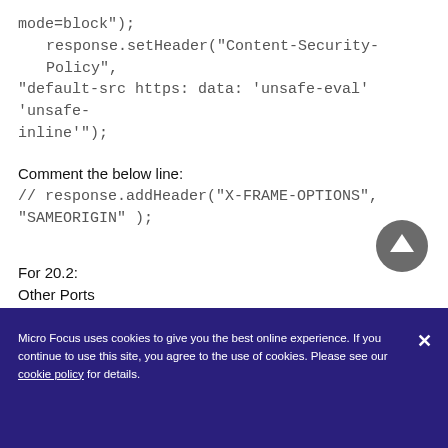mode=block");
    response.setHeader("Content-Security-Policy", "default-src https: data: 'unsafe-eval' 'unsafe-inline'");
Comment the below line:
// response.addHeader("X-FRAME-OPTIONS", "SAMEORIGIN" );
For 20.2:
Other Ports
Modify web.xml, zenserversettings.sh(Linux) and ZENServerW (Windows)
Micro Focus uses cookies to give you the best online experience. If you continue to use this site, you agree to the use of cookies. Please see our cookie policy for details.